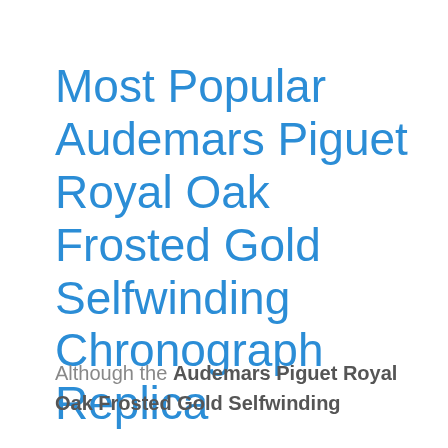Most Popular Audemars Piguet Royal Oak Frosted Gold Selfwinding Chronograph Replica
Although the Audemars Piguet Royal Oak Frosted Gold Selfwinding